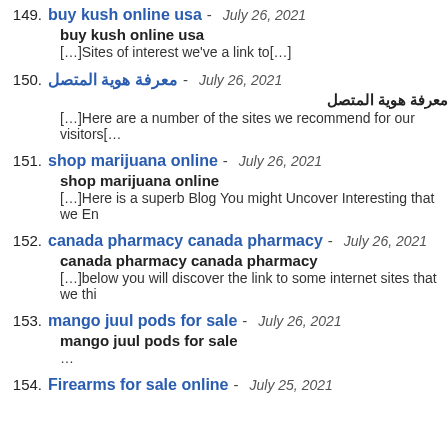149. buy kush online usa - July 26, 2021
buy kush online usa
[...]Sites of interest we've a link to[...]
150. معرفة هوية المتصل - July 26, 2021
معرفة هوية المتصل
[...]Here are a number of the sites we recommend for our visitors[...
151. shop marijuana online - July 26, 2021
shop marijuana online
[...]Here is a superb Blog You might Uncover Interesting that we En
152. canada pharmacy canada pharmacy - July 26, 2021
canada pharmacy canada pharmacy
[...]below you will discover the link to some internet sites that we thi
153. mango juul pods for sale - July 26, 2021
mango juul pods for sale
...
154. Firearms for sale online - July 25, 2021